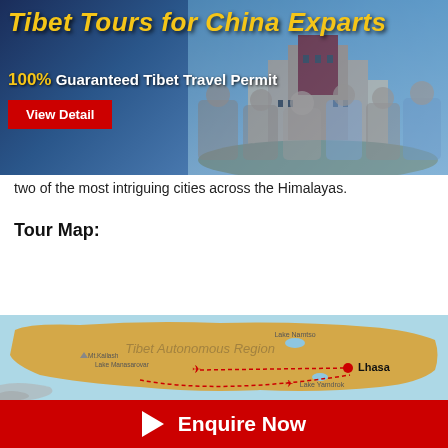[Figure (photo): Banner advertisement for Tibet Tours for China Expats showing 100% Guaranteed Tibet Travel Permit with a group of tourists and a View Detail button, set against a mountain backdrop]
two of the most intriguing cities across the Himalayas.
Tour Map:
[Figure (screenshot): Tibet Vista / TibetTravel.org navigation bar with YouTube, email, and hamburger menu icons]
[Figure (map): Map of Tibet Autonomous Region showing locations including Mt.Kailash, Lake Manasarovar, Lake Namtso, Lhasa, and Lake Yamdrok with route lines]
Enquire Now